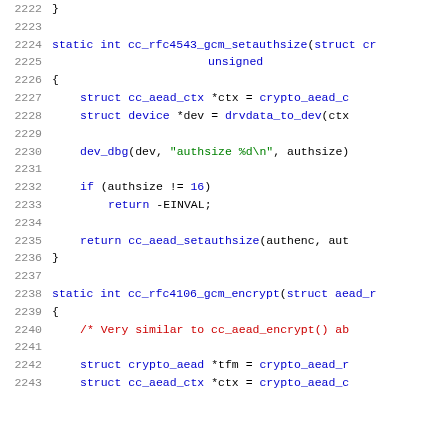Source code listing lines 2222-2243, C programming language
2222    }
2223
2224    static int cc_rfc4543_gcm_setauthsize(struct cr
2225                                          unsigned
2226    {
2227            struct cc_aead_ctx *ctx = crypto_aead_c
2228            struct device *dev = drvdata_to_dev(ctx
2229
2230            dev_dbg(dev, "authsize %d\n", authsize)
2231
2232            if (authsize != 16)
2233                    return -EINVAL;
2234
2235            return cc_aead_setauthsize(authenc, aut
2236    }
2237
2238    static int cc_rfc4106_gcm_encrypt(struct aead_r
2239    {
2240            /* Very similar to cc_aead_encrypt() ab
2241
2242            struct crypto_aead *tfm = crypto_aead_r
2243            struct cc_aead_ctx *ctx = crypto_aead_c